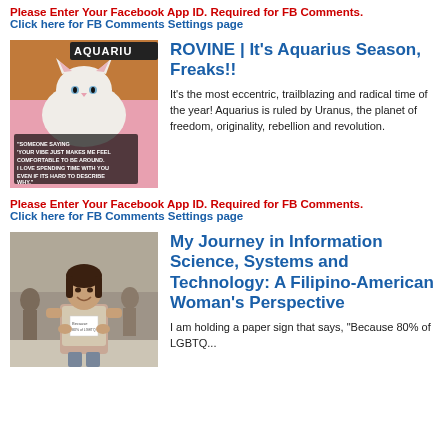Please Enter Your Facebook App ID. Required for FB Comments.
Click here for FB Comments Settings page
[Figure (photo): White fluffy cat lying on a pink blanket with text overlay reading 'AQUARIUS' and a quote about someone's vibe making you feel comfortable around them]
ROVINE | It's Aquarius Season, Freaks!!
It's the most eccentric, trailblazing and radical time of the year! Aquarius is ruled by Uranus, the planet of freedom, originality, rebellion and revolution.
Please Enter Your Facebook App ID. Required for FB Comments.
Click here for FB Comments Settings page
[Figure (photo): A Filipino-American woman standing in what appears to be a public space, smiling and holding a paper sign]
My Journey in Information Science, Systems and Technology: A Filipino-American Woman's Perspective
I am holding a paper sign that says, "Because 80% of LGBTQ..."